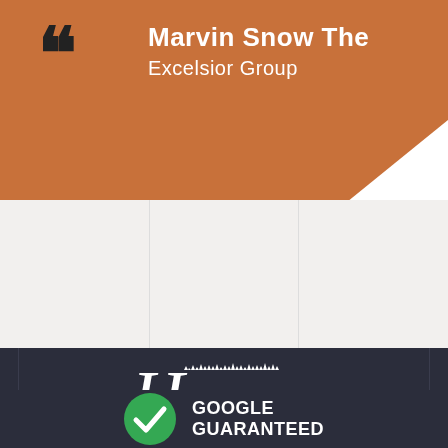Marvin Snow The
Excelsior Group
[Figure (logo): Heritage Windows & Doors logo in white text on dark background, with decorative script H and treeline silhouette]
GOOGLE
GUARANTEED